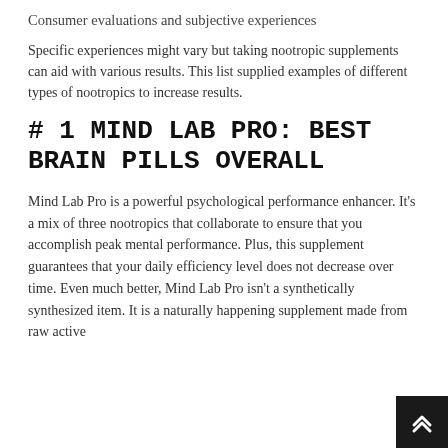Consumer evaluations and subjective experiences
Specific experiences might vary but taking nootropic supplements can aid with various results. This list supplied examples of different types of nootropics to increase results.
# 1 MIND LAB PRO: BEST BRAIN PILLS OVERALL
Mind Lab Pro is a powerful psychological performance enhancer. It's a mix of three nootropics that collaborate to ensure that you accomplish peak mental performance. Plus, this supplement guarantees that your daily efficiency level does not decrease over time. Even much better, Mind Lab Pro isn't a synthetically synthesized item. It is a naturally happening supplement made from raw active